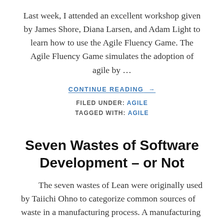Last week, I attended an excellent workshop given by James Shore, Diana Larsen, and Adam Light to learn how to use the Agile Fluency Game. The Agile Fluency Game simulates the adoption of agile by ...
CONTINUE READING →
FILED UNDER: AGILE
TAGGED WITH: AGILE
Seven Wastes of Software Development – or Not
The seven wastes of Lean were originally used by Taiichi Ohno to categorize common sources of waste in a manufacturing process. A manufacturing process